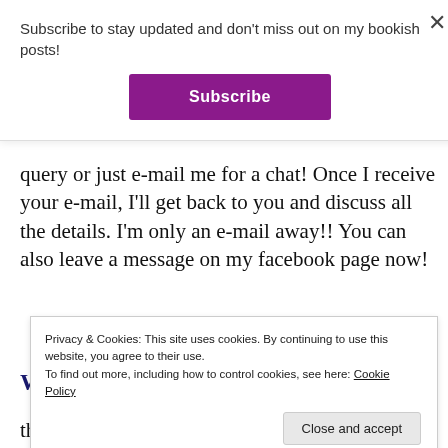Subscribe to stay updated and don't miss out on my bookish posts!
[Figure (other): Purple Subscribe button]
query or just e-mail me for a chat! Once I receive your e-mail, I'll get back to you and discuss all the details. I'm only an e-mail away!! You can also leave a message on my facebook page now!
WANT TO KNOW MORE ABOUT
Privacy & Cookies: This site uses cookies. By continuing to use this website, you agree to their use. To find out more, including how to control cookies, see here: Cookie Policy
the Contact Page. I am known to be a friendly person,